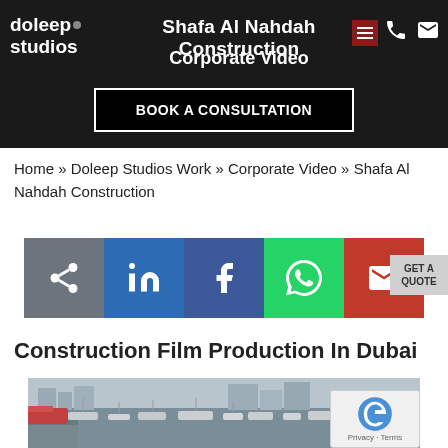doleep studios | Shafa Al Nahdah Construction Corporate Video | BOOK A CONSULTATION
Home » Doleep Studios Work » Corporate Video » Shafa Al Nahdah Construction
[Figure (screenshot): Row of social share buttons: share (grey), LinkedIn (blue), Facebook (dark blue), WhatsApp (green), Email (red)]
Construction Film Production In Dubai
[Figure (photo): Aerial photo of a harbor or marina in Dubai with boats and yachts docked, muted grey-blue tones, reCAPTCHA badge overlay in bottom-right corner]